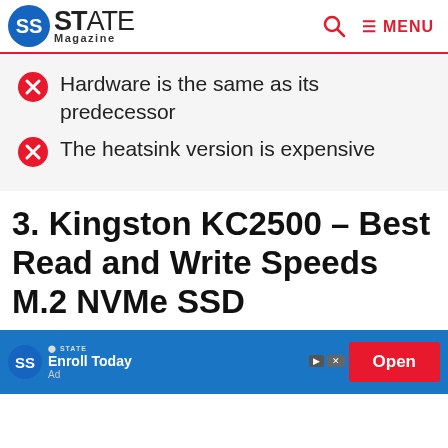STATE Magazine — MENU
Hardware is the same as its predecessor
The heatsink version is expensive
3. Kingston KC2500 – Best Read and Write Speeds M.2 NVMe SSD
[Figure (screenshot): Advertisement banner with blue background, STATE magazine logo, 'Enroll Today' text, red 'Open' button, and ad controls]